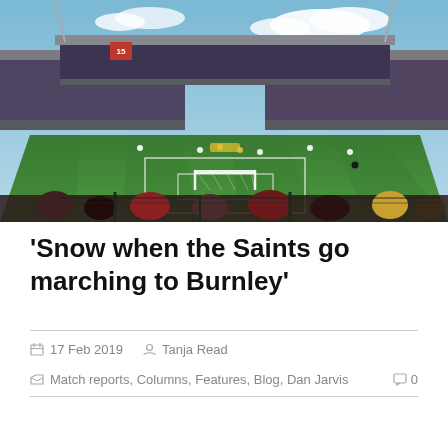[Figure (photo): Aerial view of a football stadium during a match, taken from behind one of the goals in the stand area, showing a packed crowd, green pitch, goalposts, and grandstands under a partly cloudy sky.]
'Snow when the Saints go marching to Burnley'
17 Feb 2019   Tanja Read
Match reports, Columns, Features, Blog, Dan Jarvis   0